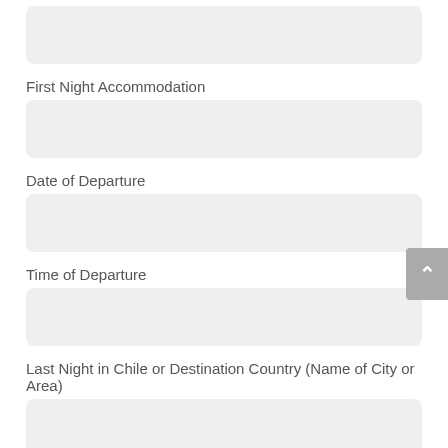First Night Accommodation
Date of Departure
Time of Departure
Last Night in Chile or Destination Country (Name of City or Area)